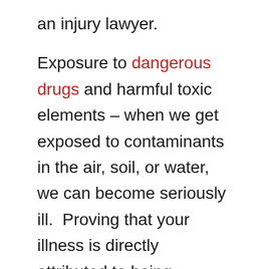an injury lawyer.

Exposure to dangerous drugs and harmful toxic elements – when we get exposed to contaminants in the air, soil, or water, we can become seriously ill.  Proving that your illness is directly attributed to being exposed to toxic elements is extremely difficult and will require complex medical and scientific data to support your claim.  You will need the expertise of a lawyer for injury to fight that company and be